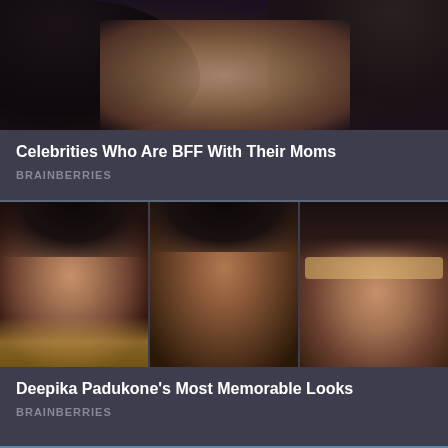[Figure (photo): Two people close together, dark hair visible, intimate scene - celebrity photo]
Celebrities Who Are BFF With Their Moms
BRAINBERRIES
[Figure (photo): Three-panel photo collage of Deepika Padukone: left panel in traditional bridal gold jewelry, center panel with floral hair accessory and pink outfit, right panel with sunglasses in modern look]
Deepika Padukone’s Most Memorable Looks
BRAINBERRIES